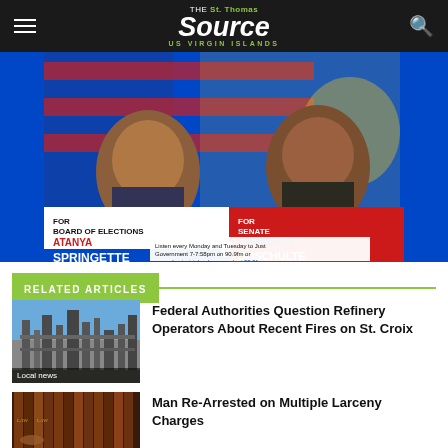The St. Thomas Source — US Virgin Islands
[Figure (photo): Political campaign advertisement showing two candidates: Atanya Springette for Board of Elections and Lawrence Boschulte for Senate, in front of US and USVI flags. Text: Listen every Monday and Tuesday to Just Government 7-7:58pm on 90.9fm or www.chnvirginislands.com select 90.9fm]
RELATED ARTICLES
[Figure (photo): Industrial refinery facility against blue sky]
Federal Authorities Question Refinery Operators About Recent Fires on St. Croix
Local news
[Figure (photo): Law books stacked on a shelf]
Man Re-Arrested on Multiple Larceny Charges